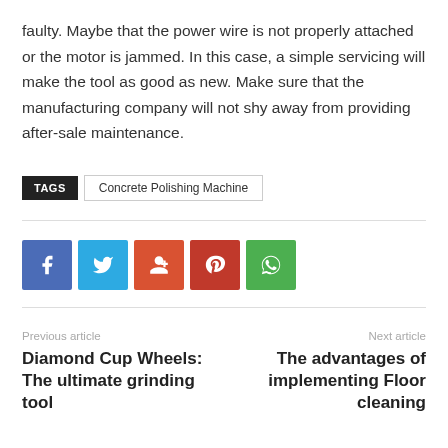faulty. Maybe that the power wire is not properly attached or the motor is jammed. In this case, a simple servicing will make the tool as good as new. Make sure that the manufacturing company will not shy away from providing after-sale maintenance.
TAGS  Concrete Polishing Machine
[Figure (infographic): Social media share buttons: Facebook (blue), Twitter (cyan), Google+ (orange-red), Pinterest (red), WhatsApp (green)]
Previous article
Diamond Cup Wheels: The ultimate grinding tool
Next article
The advantages of implementing Floor cleaning